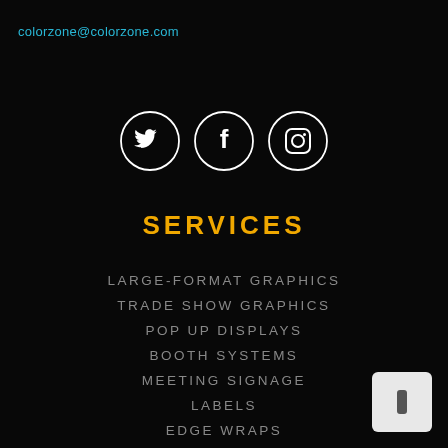colorzone@colorzone.com
[Figure (illustration): Three social media icons in white circles: Twitter bird, Facebook f, Instagram camera]
SERVICES
LARGE-FORMAT GRAPHICS
TRADE SHOW GRAPHICS
POP UP DISPLAYS
BOOTH SYSTEMS
MEETING SIGNAGE
LABELS
EDGE WRAPS
BANNERS